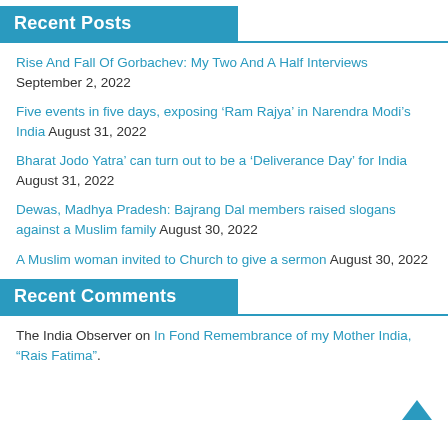Recent Posts
Rise And Fall Of Gorbachev: My Two And A Half Interviews September 2, 2022
Five events in five days, exposing ‘Ram Rajya’ in Narendra Modi’s India August 31, 2022
Bharat Jodo Yatra’ can turn out to be a ‘Deliverance Day’ for India August 31, 2022
Dewas, Madhya Pradesh: Bajrang Dal members raised slogans against a Muslim family August 30, 2022
A Muslim woman invited to Church to give a sermon August 30, 2022
Recent Comments
The India Observer on In Fond Remembrance of my Mother India, “Rais Fatima”.